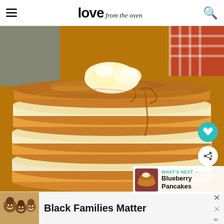love from the oven
[Figure (photo): Close-up photograph of a tall stack of fluffy golden pancakes topped with a large pat of butter and drizzled with maple syrup, served on a plate with a colorful background]
WHAT'S NEXT → Blueberry Pancakes
Black Families Matter